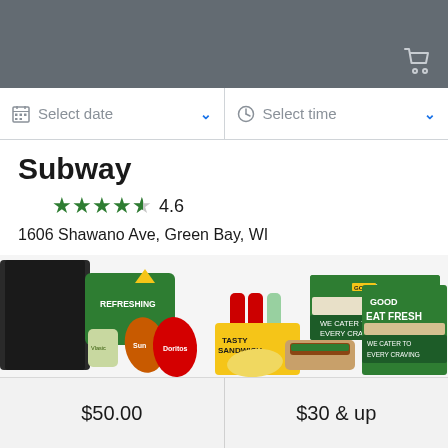Shopping cart icon in top-right corner
Select date  Select time
Subway
★★★★½ 4.6
1606 Shawano Ave, Green Bay, WI
[Figure (photo): Subway catering spread with sandwiches, chips, drinks, and 'EAT FRESH / WE CATER TO EVERY CRAVING' branded boxes]
$50.00
$30 & up